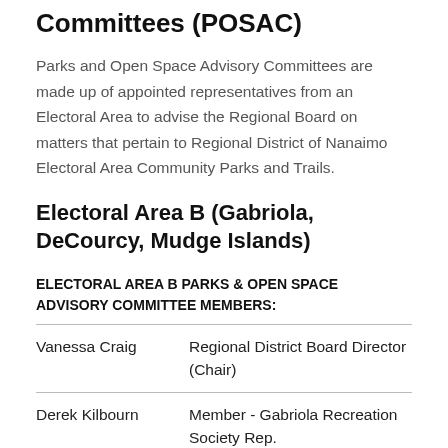Committees (POSAC)
Parks and Open Space Advisory Committees are made up of appointed representatives from an Electoral Area to advise the Regional Board on matters that pertain to Regional District of Nanaimo Electoral Area Community Parks and Trails.
Electoral Area B (Gabriola, DeCourcy, Mudge Islands)
ELECTORAL AREA B PARKS & OPEN SPACE ADVISORY COMMITTEE MEMBERS:
| Name | Role |
| --- | --- |
| Vanessa Craig | Regional District Board Director (Chair) |
| Derek Kilbourn | Member - Gabriola Recreation Society Rep. |